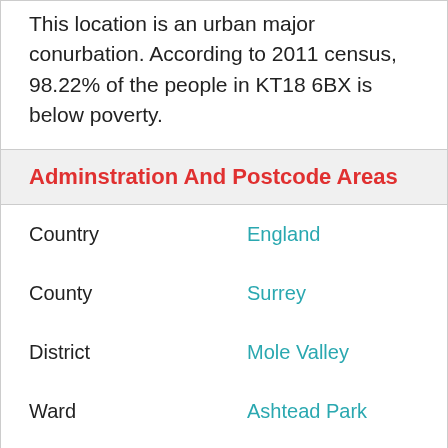This location is an urban major conurbation. According to 2011 census, 98.22% of the people in KT18 6BX is below poverty.
Adminstration And Postcode Areas
| Field | Value |
| --- | --- |
| Country | England |
| County | Surrey |
| District | Mole Valley |
| Ward | Ashtead Park |
| Parish | Mole Valley, unparished area |